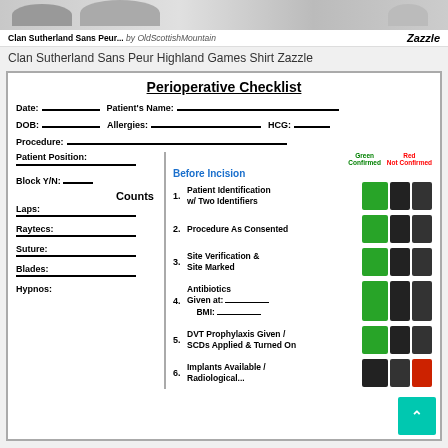[Figure (photo): Banner image showing Clan Sutherland product listing on Zazzle with shirt image]
Clan Sutherland Sans Peur... by OldScottishMountain  Zazzle
Clan Sutherland Sans Peur Highland Games Shirt Zazzle
Perioperative Checklist
Date:__________ Patient's Name:________________________________________
DOB:__________ Allergies:__________________________ HCG:______
Procedure:______________________________________________
Patient Position: _______________
Block Y/N:_____
Counts
Laps:
Raytecs:
Suture:
Blades:
Hypnos:
Before Incision
1. Patient Identification w/ Two Identifiers
2. Procedure As Consented
3. Site Verification & Site Marked
4. Antibiotics Given at:__________ BMI:__________
5. DVT Prophylaxis Given / SCDs Applied & Turned On
6. Implants Available / Radiological...